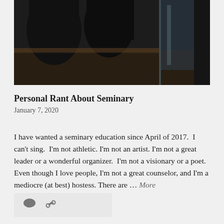[Figure (photo): Dark photo of chairs around a table, viewed from a low angle, with a glass partition visible. The scene appears to be a classroom or conference room setting.]
Personal Rant About Seminary
January 7, 2020
I have wanted a seminary education since April of 2017.  I can't sing.  I'm not athletic. I'm not an artist. I'm not a great leader or a wonderful organizer.  I'm not a visionary or a poet.  Even though I love people, I'm not a great counselor, and I'm a mediocre (at best) hostess. There are … More